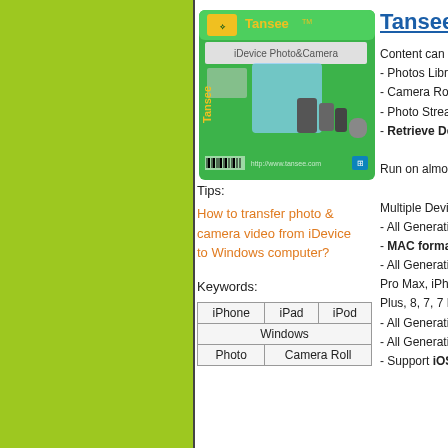[Figure (photo): Tansee iDevice Photo&Camera product box showing tablets, phones and iPod devices on green packaging]
Tansee iOS
Content can be t
- Photos Library
- Camera Roll (P
- Photo Stream (
- Retrieve Delet

Run on almost al

Multiple Device C
- All Generations
- MAC formatted
- All Generations Pro Max, iPhone Plus, 8, 7, 7 Plus
- All Generations
- All Generations
- Support iOS 1
Tips:
How to transfer photo & camera video from iDevice to Windows computer?
Keywords:
| iPhone | iPad | iPod |
| Windows |
| Photo | Camera Roll |